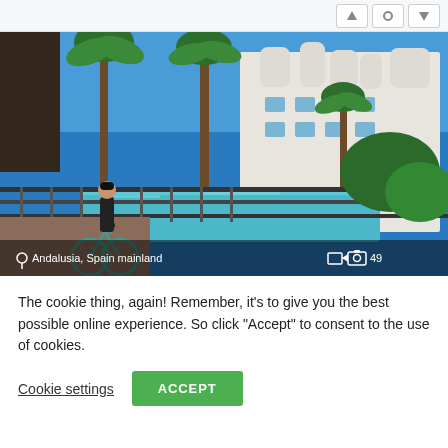[Figure (screenshot): Top navigation bar with white background and icon buttons on the right side]
[Figure (photo): Hotel resort photo showing a person with a bicycle on a terrace overlooking a pool area with palm trees and white Mediterranean-style building. Location label 'Andalusia, Spain mainland' with camera icon and count '49' at the bottom.]
The cookie thing, again! Remember, it's to give you the best possible online experience. So click “Accept” to consent to the use of cookies.
Cookie settings
ACCEPT